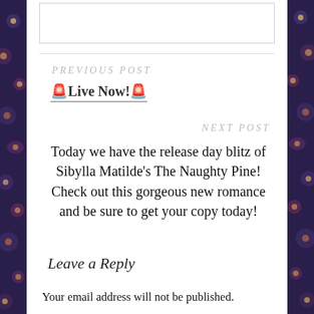[input box]
PREVIOUS POST
🚨Live Now!🚨
NEXT POST
Today we have the release day blitz of Sibylla Matilde's The Naughty Pine! Check out this gorgeous new romance and be sure to get your copy today!
Leave a Reply
Your email address will not be published.